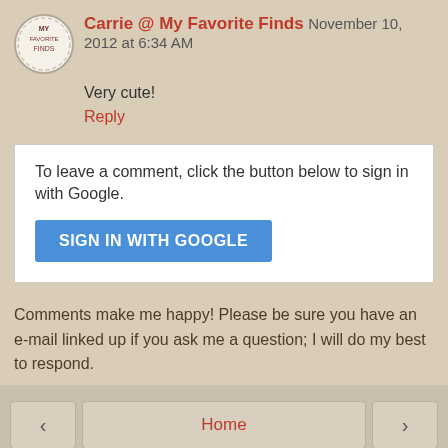Carrie @ My Favorite Finds November 10, 2012 at 6:34 AM
Very cute!
Reply
To leave a comment, click the button below to sign in with Google.
SIGN IN WITH GOOGLE
Comments make me happy! Please be sure you have an e-mail linked up if you ask me a question; I will do my best to respond.
Home
View web version
Powered by Blogger.